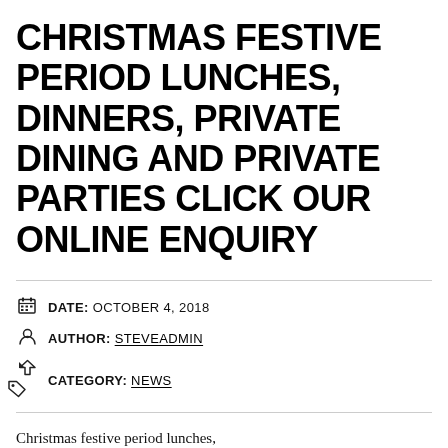CHRISTMAS FESTIVE PERIOD LUNCHES, DINNERS, PRIVATE DINING AND PRIVATE PARTIES CLICK OUR ONLINE ENQUIRY
DATE: OCTOBER 4, 2018
AUTHOR: STEVEADMIN
CATEGORY: NEWS
Christmas festive period lunches,